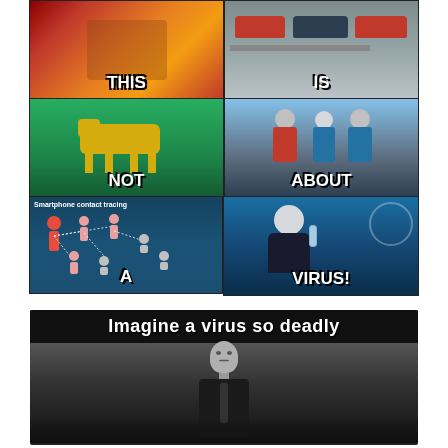[Figure (infographic): 6-panel meme grid with labels THIS, IS, NOT, ABOUT, A, VIRUS! showing: burning constitution, traffic checkpoint, robot dog, officers talking, smartphone contact tracing diagram, Bill Gates with vaccine vial]
[Figure (infographic): Meme showing black and white man looking confused with text 'Imagine a virus so deadly' at top]